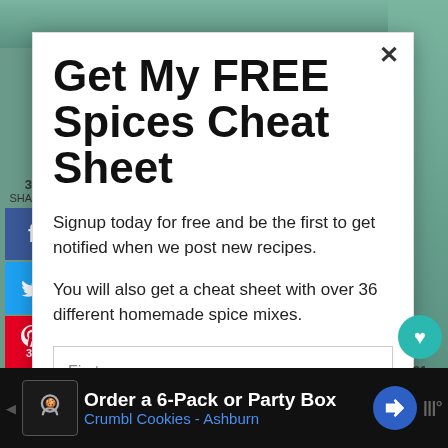Get My FREE Spices Cheat Sheet
Signup today for free and be the first to get notified when we post new recipes.
You will also get a cheat sheet with over 36 different homemade spice mixes.
First name
30 SHARES
31
WHAT'S NEXT → Blackberry Mint Spritzer...
Order a 6-Pack or Party Box Crumbl Cookies - Ashburn